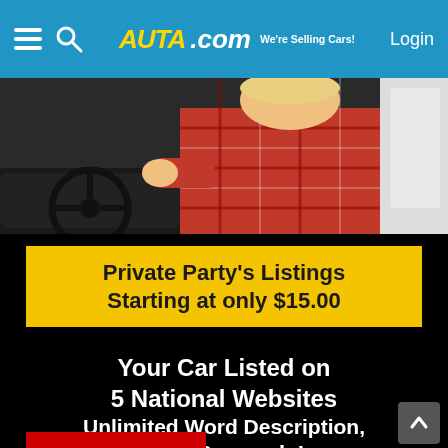AUTA.com We're Selling Cars! Login
[Figure (photo): Person in red plaid shirt sitting in car at steering wheel, photographed from passenger side]
Private Party's Listings Starting at only $15.00
Your Car Listed on 5 National Websites
Unlimited Word Description,
Free Renewals!